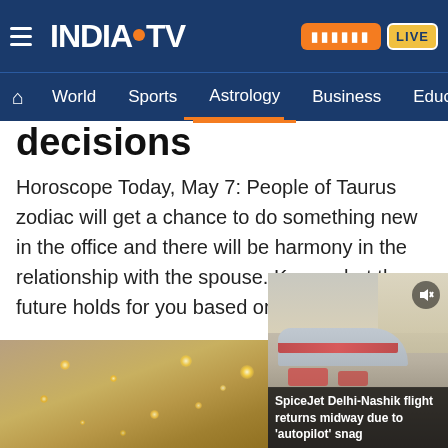INDIA TV — Navigation: Home, World, Sports, Astrology, Business, Education
decisions
Horoscope Today, May 7: People of Taurus zodiac will get a chance to do something new in the office and there will be harmony in the relationship with the spouse. Know what the future holds for you based on the stars.
[Figure (photo): Dark starry sky background with golden bokeh light spots]
[Figure (screenshot): Video thumbnail showing SpiceJet airplane on tarmac at airport with caption: SpiceJet Delhi-Nashik flight returns midway due to 'autopilot' snag]